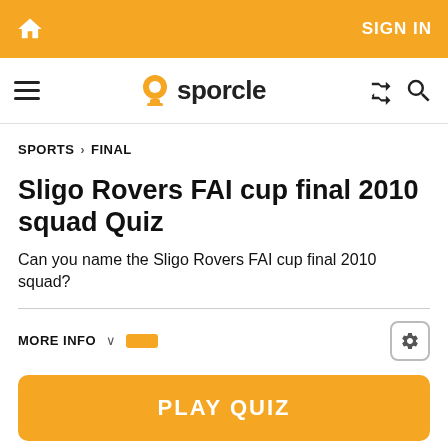SIGN IN
[Figure (logo): Sporcle logo with orange globe icon and text 'sporcle']
SPORTS > FINAL
Sligo Rovers FAI cup final 2010 squad Quiz
Can you name the Sligo Rovers FAI cup final 2010 squad?
MORE INFO
PLAY QUIZ